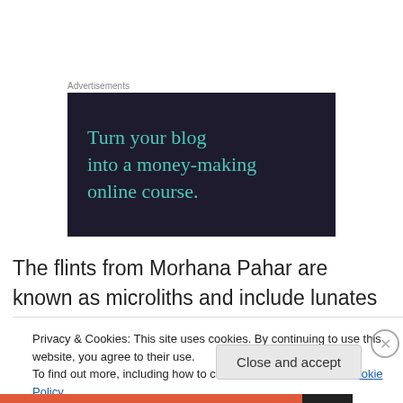Advertisements
[Figure (illustration): Dark navy background advertisement banner with teal serif text reading: Turn your blog into a money-making online course.]
The flints from Morhana Pahar are known as microliths and include lunates or crescent shaped artefacts,
Privacy & Cookies: This site uses cookies. By continuing to use this website, you agree to their use.
To find out more, including how to control cookies, see here: Cookie Policy
Close and accept